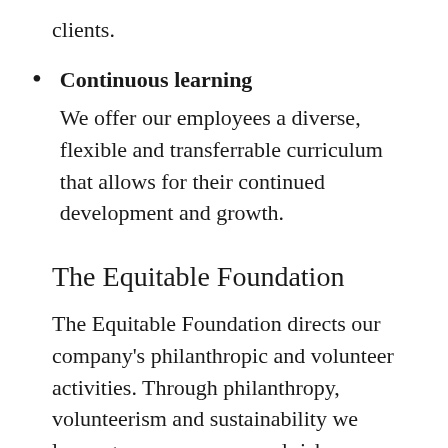clients.
Continuous learning
We offer our employees a diverse, flexible and transferrable curriculum that allows for their continued development and growth.
The Equitable Foundation
The Equitable Foundation directs our company's philanthropic and volunteer activities. Through philanthropy, volunteerism and sustainability we leverage our resources and risk experience to build a